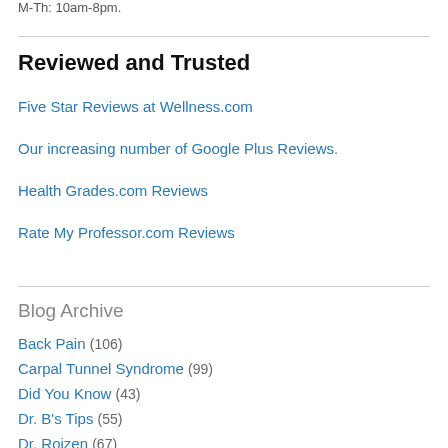M-Th: 10am-8pm.
Reviewed and Trusted
Five Star Reviews at Wellness.com
Our increasing number of Google Plus Reviews.
Health Grades.com Reviews
Rate My Professor.com Reviews
Blog Archive
Back Pain (106)
Carpal Tunnel Syndrome (99)
Did You Know (43)
Dr. B's Tips (55)
Dr. Roizen (67)
Fibromyalgia (42)